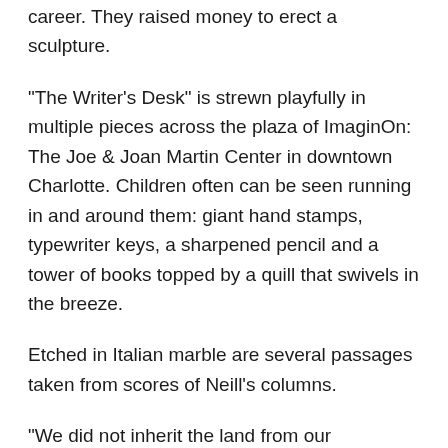career. They raised money to erect a sculpture.
“The Writer’s Desk” is strewn playfully in multiple pieces across the plaza of ImaginOn: The Joe & Joan Martin Center in downtown Charlotte. Children often can be seen running in and around them: giant hand stamps, typewriter keys, a sharpened pencil and a tower of books topped by a quill that swivels in the breeze.
Etched in Italian marble are several passages taken from scores of Neill’s columns.
“We did not inherit the land from our ancestors,” reads one line from a column. “We borrowed it from our children.”
Former Charlotte City Council member Cyndee